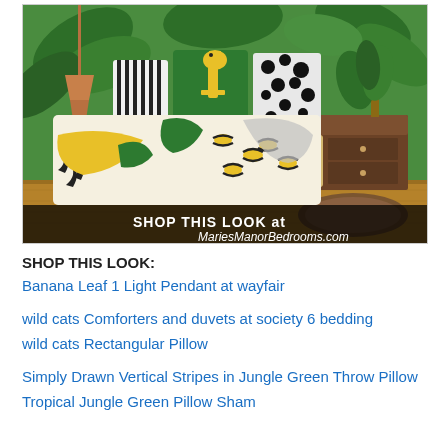[Figure (photo): A jungle-themed bedroom scene featuring a bed with wild animal print comforter (leopard, tiger, and abstract patterns in yellow, black, green, and white), decorative pillows including a green pillow with a giraffe, black-and-white striped pillow, and animal print pillows. Background shows tropical leaf wallpaper. A wooden nightstand is on the right, a copper pendant lamp on the left, and a round rug on the wooden floor. Overlay text reads 'SHOP THIS LOOK at MariesManorBedrooms.com']
SHOP THIS LOOK:
Banana Leaf 1 Light Pendant at wayfair
wild cats Comforters and duvets at society 6 bedding
wild cats Rectangular Pillow
Simply Drawn Vertical Stripes in Jungle Green Throw Pillow
Tropical Jungle Green Pillow Sham